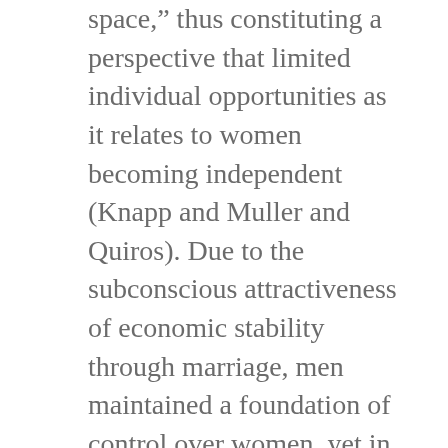space,” thus constituting a perspective that limited individual opportunities as it relates to women becoming independent (Knapp and Muller and Quiros). Due to the subconscious attractiveness of economic stability through marriage, men maintained a foundation of control over women, yet in terms of familial relations, “the Mexican mother raises the male child and has a great influence on the learned macho behavior of the child” (Anaya 67). In this way, both Mexican men and women held a portion of power. As such, it is evident that machismo and...